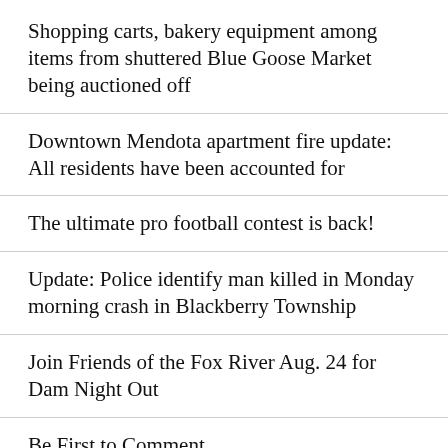Shopping carts, bakery equipment among items from shuttered Blue Goose Market being auctioned off
Downtown Mendota apartment fire update: All residents have been accounted for
The ultimate pro football contest is back!
Update: Police identify man killed in Monday morning crash in Blackberry Township
Join Friends of the Fox River Aug. 24 for Dam Night Out
Be First to Comment